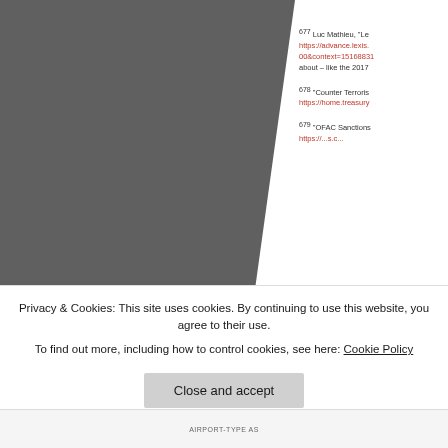[Figure (photo): Gray-toned photograph of a person or scene, cropped diagonally on the right edge, occupying the left portion of the page.]
677 Luc Mathieu, "Le... https://advance.lexis....00&context=15168831... about – like the 2017
678 "Counter Terroris... https://home.treasury...
679 "OFAC Sanctions... https://...s.c...
Privacy & Cookies: This site uses cookies. By continuing to use this website, you agree to their use.
To find out more, including how to control cookies, see here: Cookie Policy
Close and accept
AIRPORT-TYPE AS